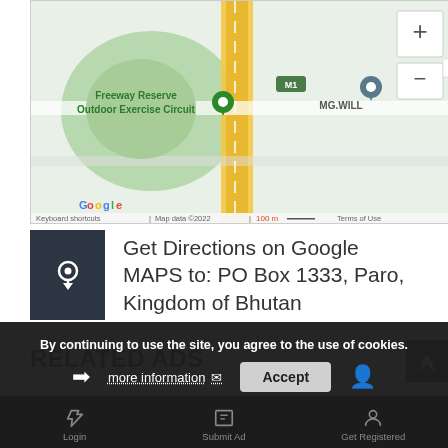[Figure (map): Google Maps screenshot showing Freeway Reserve Outdoor Exercise Circuit and MG.WILL location markers, with yellow highway, zoom controls (+/-), M1 motorway label, and Google branding. Map data ©2022, 100m scale, Terms of Use shown.]
Get Directions on Google MAPS to: PO Box 1333, Paro, Kingdom of Bhutan
RELATED ADS
By continuing to use the site, you agree to the use of cookies.
more information
Accept
Login   Submit Ad   Get Registered